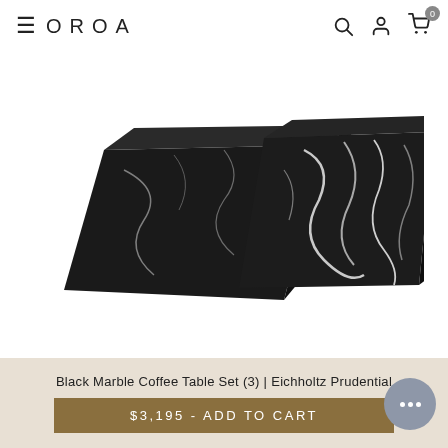OROA
[Figure (photo): Two black marble coffee tables (Eichholtz Prudential) with white veining, trapezoidal shape, shown on white background]
[Figure (photo): Thumbnail image strip showing 5 small product images of the black marble coffee table set]
Black Marble Coffee Table Set (3) | Eichholtz Prudential
$3,195 - ADD TO CART